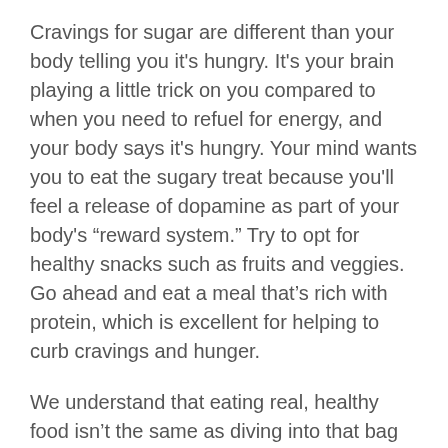Cravings for sugar are different than your body telling you it's hungry. It's your brain playing a little trick on you compared to when you need to refuel for energy, and your body says it's hungry. Your mind wants you to eat the sugary treat because you'll feel a release of dopamine as part of your body's “reward system.” Try to opt for healthy snacks such as fruits and veggies. Go ahead and eat a meal that’s rich with protein, which is excellent for helping to curb cravings and hunger.
We understand that eating real, healthy food isn’t the same as diving into that bag of candies or indulging in that cupcake. But your body (and your smile) will surely thank you for making the right choices now, so they’re there for you in the long run.
Step #3 – Get Enough Sleep
Your Sacramento dentist will be the first one to tell you